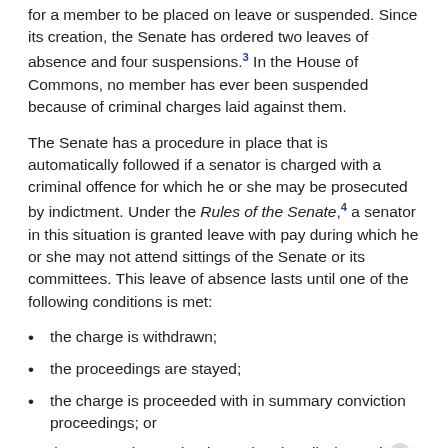for a member to be placed on leave or suspended. Since its creation, the Senate has ordered two leaves of absence and four suspensions.[3] In the House of Commons, no member has ever been suspended because of criminal charges laid against them.
The Senate has a procedure in place that is automatically followed if a senator is charged with a criminal offence for which he or she may be prosecuted by indictment. Under the Rules of the Senate,[4] a senator in this situation is granted leave with pay during which he or she may not attend sittings of the Senate or its committees. This leave of absence lasts until one of the following conditions is met:
the charge is withdrawn;
the proceedings are stayed;
the charge is proceeded with in summary conviction proceedings; or
the senator is acquitted, convicted or discharged.[5]
This procedure was followed in the case of Senator Raymond Lavigne. In June 2006, Senator Lavigne was